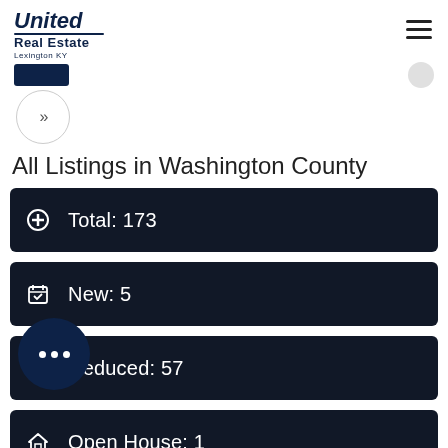United Real Estate Lexington KY
All Listings in Washington County
Total: 173
New: 5
Reduced: 57
Open House: 1
Foreclosures: 0